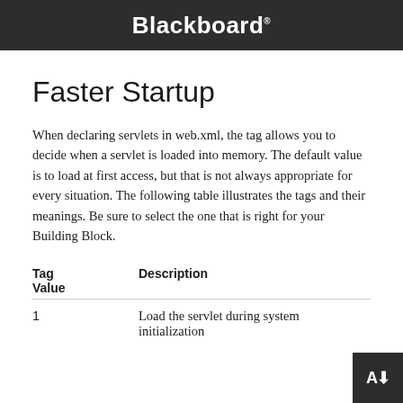Blackboard
Faster Startup
When declaring servlets in web.xml, the tag allows you to decide when a servlet is loaded into memory. The default value is to load at first access, but that is not always appropriate for every situation. The following table illustrates the tags and their meanings. Be sure to select the one that is right for your Building Block.
| Tag Value | Description |
| --- | --- |
| 1 | Load the servlet during system initialization |